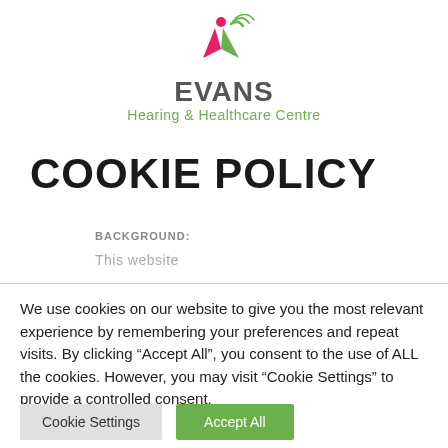[Figure (logo): Evans Hearing & Healthcare Centre logo with stylized figure and signal waves icon above text]
COOKIE POLICY
BACKGROUND:
This website
We use cookies on our website to give you the most relevant experience by remembering your preferences and repeat visits. By clicking “Accept All”, you consent to the use of ALL the cookies. However, you may visit "Cookie Settings" to provide a controlled consent.